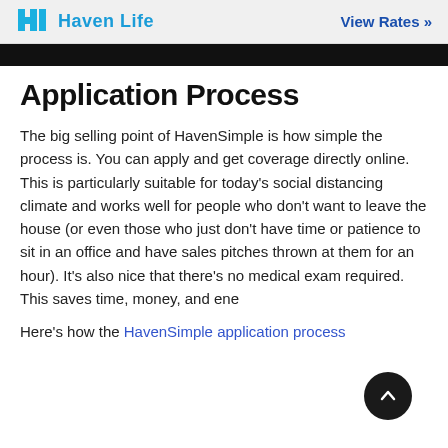Haven Life | View Rates »
Application Process
The big selling point of HavenSimple is how simple the process is. You can apply and get coverage directly online. This is particularly suitable for today's social distancing climate and works well for people who don't want to leave the house (or even those who just don't have time or patience to sit in an office and have sales pitches thrown at them for an hour). It's also nice that there's no medical exam required. This saves time, money, and ene…
Here's how the HavenSimple application process